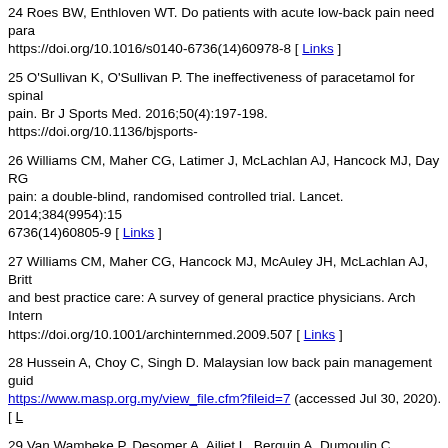24 Roes BW, Enthloven WT. Do patients with acute low-back pain need para... https://doi.org/10.1016/s0140-6736(14)60978-8 [ Links ]
25 O'Sullivan K, O'Sullivan P. The ineffectiveness of paracetamol for spinal pain. Br J Sports Med. 2016;50(4):197-198. https://doi.org/10.1136/bjsports-...
26 Williams CM, Maher CG, Latimer J, McLachlan AJ, Hancock MJ, Day RG... pain: a double-blind, randomised controlled trial. Lancet. 2014;384(9954):15... 6736(14)60805-9 [ Links ]
27 Williams CM, Maher CG, Hancock MJ, McAuley JH, McLachlan AJ, Britt... and best practice care: A survey of general practice physicians. Arch Intern https://doi.org/10.1001/archinternmed.2009.507 [ Links ]
28 Hussein A, Choy C, Singh D. Malaysian low back pain management guid... https://www.masp.org.my/view_file.cfm?fileid=7 (accessed Jul 30, 2020). [ L...
29 Van Wambeke P, Desomer A, Ailiet L, Berquin A, Dumoulin C, Depreitere... assessment and management. Belgian Health Care Knowledge Centre (KC... https://kce.fgov.be/sites/default/files/atoms/files/KCE_287_Low_back_pain_...
30 Chenot J-F, Greitemann B, Kladny B, Petzke F, Pfingsten M, Schorr SG.... international. 2017;114(51-52):883-890. https://doi.org/10.3238/arztebl.2017...
31 Stochkendahl MJ, et al. National Clinical Guidelines for non-surgical trea... lumbar radiculopathy. Eur Spine J. 2018;27(1):60-75. https://doi.org/10.1007...
32 Bernstein IA, Malik Q, Carville S, Ward S. Low back pain and sciatica: su... Published 2017 Jan 6. https://doi.org/10.1136/bmj.i6748 [ Links ]
33 Chou R, Deyo R, Friedly J, Skelly A, Weimer M, Fu R, Dana T, Kraegel P... Therapies for Low Back Pain: A Systematic Review for an American Colle...